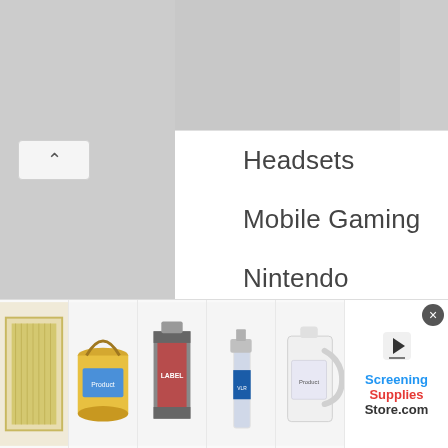Headsets
Mobile Gaming
Nintendo
PC Gaming
Playstation & Xbox
Home
Air Purifiers
Appliances
Electrical
Gadgets
Humidifiers
[Figure (screenshot): Bottom advertisement bar with 5 product thumbnails and Screening Supplies Store logo]